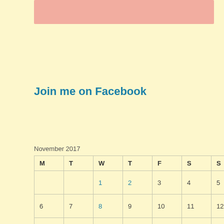[Figure (other): Pink/salmon colored horizontal bar at top of page]
Join me on Facebook
November 2017
| M | T | W | T | F | S | S |
| --- | --- | --- | --- | --- | --- | --- |
|  |  | 1 | 2 | 3 | 4 | 5 |
| 6 | 7 | 8 | 9 | 10 | 11 | 12 |
| 13 | 14 | 15 | 16 | 17 | 18 | 19 |
| 20 | 21 | 22 | 23 | 24 | 25 | 26 |
| 27 | 28 | 29 | 30 |  |  |  |